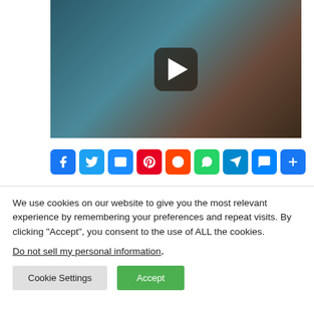[Figure (photo): Medical/healthcare scene showing a person receiving medical attention, with healthcare workers wearing blue gloves. A video play button overlay is visible in the center.]
[Figure (infographic): Social sharing bar with icons for Facebook, Twitter, Email, Pinterest, Reddit, WhatsApp, Telegram, Messenger, and a More/Share button.]
ARTICLE
NEXT AF
We use cookies on our website to give you the most relevant experience by remembering your preferences and repeat visits. By clicking “Accept”, you consent to the use of ALL the cookies.
Do not sell my personal information.
Cookie Settings
Accept